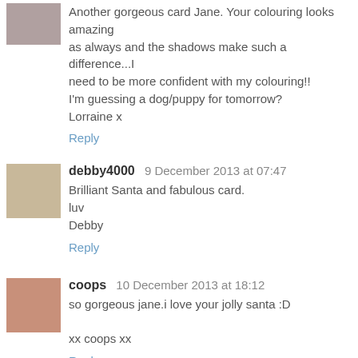Another gorgeous card Jane. Your colouring looks amazing as always and the shadows make such a difference...I need to be more confident with my colouring!!
I'm guessing a dog/puppy for tomorrow?
Lorraine x
Reply
debby4000  9 December 2013 at 07:47
Brilliant Santa and fabulous card.
luv
Debby
Reply
coops  10 December 2013 at 18:12
so gorgeous jane.i love your jolly santa :D

xx coops xx
Reply